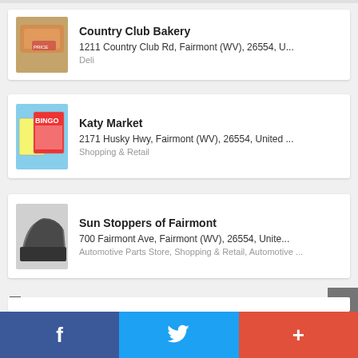Country Club Bakery
1211 Country Club Rd, Fairmont (WV), 26554, U...
Deli
Katy Market
2171 Husky Hwy, Fairmont (WV), 26554, United ...
Shopping & Retail
Sun Stoppers of Fairmont
700 Fairmont Ave, Fairmont (WV), 26554, Unite...
Automotive Parts Store, Shopping & Retail, Automotive ...
Services